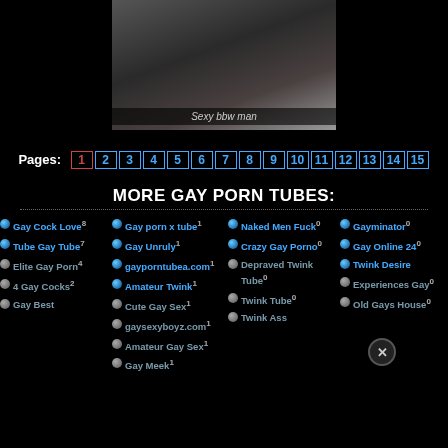[Figure (photo): Video thumbnail showing adult content labeled 'Sexy bbw man']
Sexy bbw man
Pages: 1 2 3 4 5 6 7 8 9 10 11 12 13 14 15
MORE GAY PORN TUBES:
Gay Cock Love 8
Tube Gay Tube 7
Elite Gay Porn 4
4 Gay Cocks 2
Gay Best
Gay porn x tube 1
Gay Unruly 1
gayporntubea.com 1
Amateur Twink 1
Cute Gay Sex 1
gaysexyboyz.com 1
Amateur Gay Sex 1
Gay Meek 1
Naked Men Fuck 0
Crazy Gay Porno 0
Depraved Twink Tube 0
Twink Tube 0
Twink Ass
Gayminator 0
Gay Online 24 0
Twink Desire
Experiences Gay 0
Old Gays House 0